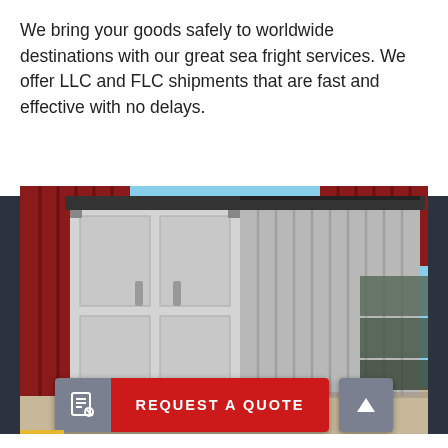We bring your goods safely to worldwide destinations with our great sea fright services. We offer LLC and FLC shipments that are fast and effective with no delays.
[Figure (photo): A gray/silver shipping container photographed at an angle showing its front doors and side, with red shipping containers visible behind it and stacked containers in the background on the right.]
REQUEST A QUOTE